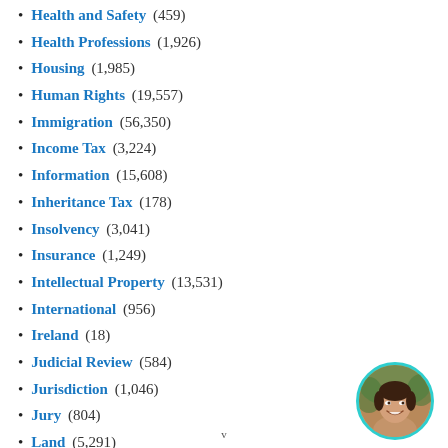Health and Safety (459)
Health Professions (1,926)
Housing (1,985)
Human Rights (19,557)
Immigration (56,350)
Income Tax (3,224)
Information (15,608)
Inheritance Tax (178)
Insolvency (3,041)
Insurance (1,249)
Intellectual Property (13,531)
International (956)
Ireland (18)
Judicial Review (584)
Jurisdiction (1,046)
Jury (804)
Land (5,291)
Landlord and Tenant (15,646)
Legal Aid (391)
[Figure (photo): Circular avatar photo of a smiling woman with dark hair, framed by a teal/cyan border.]
v